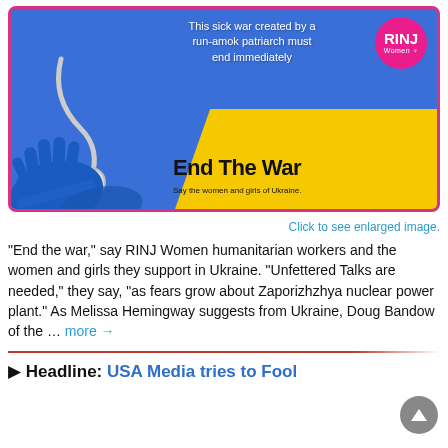[Figure (illustration): RINJ Women 'End The War' promotional image featuring a blue and yellow Ukrainian flag background with blue surgical gloves and stethoscope, text reading 'This sick war created by a run-amok patriarch must end immediately', RINJ Women logo in pink circle, large bold text 'End The War', subtext 'Say the women and girls of Ukraine.']
Click to see enlarged image.
“End the war,” say RINJ Women humanitarian workers and the women and girls they support in Ukraine. “Unfettered Talks are needed,” they say, “as fears grow about Zaporizhzhya nuclear power plant.” As Melissa Hemingway suggests from Ukraine, Doug Bandow of the … more →
▶ Headline: USA Media tries to Fool